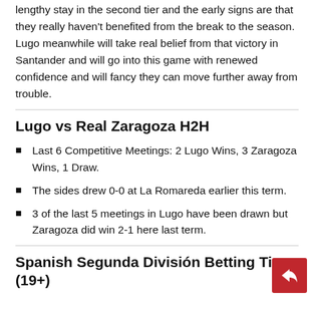lengthy stay in the second tier and the early signs are that they really haven't benefited from the break to the season. Lugo meanwhile will take real belief from that victory in Santander and will go into this game with renewed confidence and will fancy they can move further away from trouble.
Lugo vs Real Zaragoza H2H
Last 6 Competitive Meetings: 2 Lugo Wins, 3 Zaragoza Wins, 1 Draw.
The sides drew 0-0 at La Romareda earlier this term.
3 of the last 5 meetings in Lugo have been drawn but Zaragoza did win 2-1 here last term.
Spanish Segunda División Betting Tips (19+)